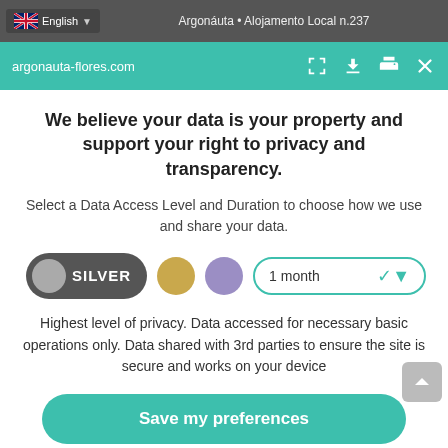English — Argonauta • Alojamento Local n.237
argonauta-flores.com
We believe your data is your property and support your right to privacy and transparency.
Select a Data Access Level and Duration to choose how we use and share your data.
[Figure (other): Privacy level selector with SILVER toggle button (dark gray pill with gray circle), gold circle, purple circle, and a '1 month' dropdown selector with teal border.]
Highest level of privacy. Data accessed for necessary basic operations only. Data shared with 3rd parties to ensure the site is secure and works on your device
Save my preferences
Customize    Privacy policy